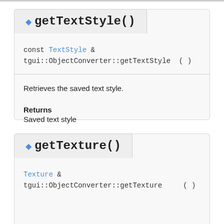◆ getTextStyle()
const TextStyle &
tgui::ObjectConverter::getTextStyle ( )
Retrieves the saved text style.
Returns
Saved text style
This function will assert when something other than a text style was saved
◆ getTexture()
Texture &
tgui::ObjectConverter::getTexture ( )